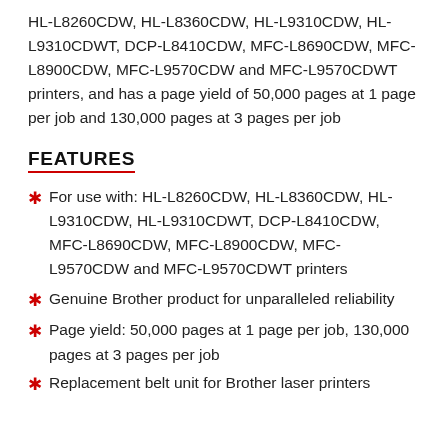HL-L8260CDW, HL-L8360CDW, HL-L9310CDW, HL-L9310CDWT, DCP-L8410CDW, MFC-L8690CDW, MFC-L8900CDW, MFC-L9570CDW and MFC-L9570CDWT printers, and has a page yield of 50,000 pages at 1 page per job and 130,000 pages at 3 pages per job
FEATURES
For use with: HL-L8260CDW, HL-L8360CDW, HL-L9310CDW, HL-L9310CDWT, DCP-L8410CDW, MFC-L8690CDW, MFC-L8900CDW, MFC-L9570CDW and MFC-L9570CDWT printers
Genuine Brother product for unparalleled reliability
Page yield: 50,000 pages at 1 page per job, 130,000 pages at 3 pages per job
Replacement belt unit for Brother laser printers